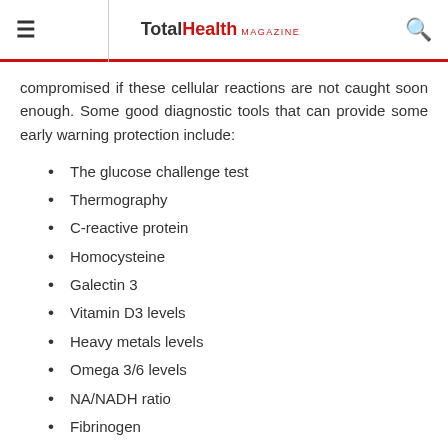TotalHealth MAGAZINE
compromised if these cellular reactions are not caught soon enough. Some good diagnostic tools that can provide some early warning protection include:
The glucose challenge test
Thermography
C-reactive protein
Homocysteine
Galectin 3
Vitamin D3 levels
Heavy metals levels
Omega 3/6 levels
NA/NADH ratio
Fibrinogen
By using these early warning health assessment tools, it has been proven that natural/functional medicine doctors can prevent and reverse over 80 percent of all chronic illnesses and the focus of our this conversation and